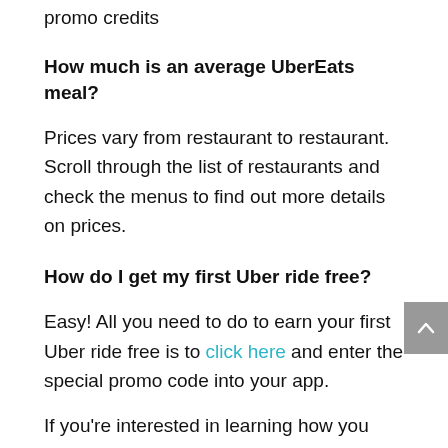promo credits
How much is an average UberEats meal?
Prices vary from restaurant to restaurant. Scroll through the list of restaurants and check the menus to find out more details on prices.
How do I get my first Uber ride free?
Easy! All you need to do to earn your first Uber ride free is to click here and enter the special promo code into your app.
If you're interested in learning how you can earn and use Uber credits when traveling